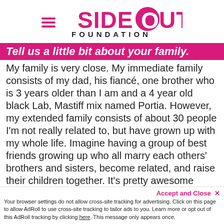Side Out Foundation
Tell us a little bit about your family.
My family is very close. My immediate family consists of my dad, his fiancé, one brother who is 3 years older than I am and a 4 year old black Lab, Mastiff mix named Portia. However, my extended family consists of about 30 people I'm not really related to, but have grown up with my whole life. Imagine having a group of best friends growing up who all marry each others' brothers and sisters, become related, and raise their children together. It's pretty awesome even if it sounds like some weird reality TV show, it works out pretty well.
Accept and Close ✕ Your browser settings do not allow cross-site tracking for advertising. Click on this page to allow AdRoll to use cross-site tracking to tailor ads to you. Learn more or opt out of this AdRoll tracking by clicking here. This message only appears once.